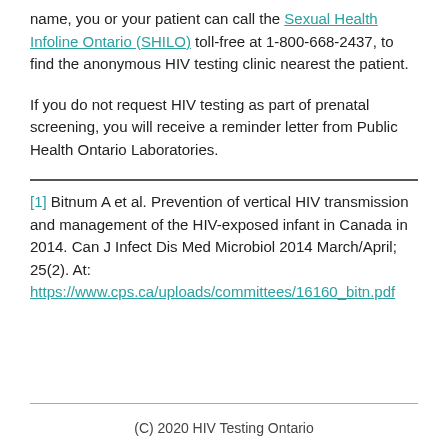name, you or your patient can call the Sexual Health Infoline Ontario (SHILO) toll-free at 1-800-668-2437, to find the anonymous HIV testing clinic nearest the patient.
If you do not request HIV testing as part of prenatal screening, you will receive a reminder letter from Public Health Ontario Laboratories.
[1] Bitnum A et al. Prevention of vertical HIV transmission and management of the HIV-exposed infant in Canada in 2014. Can J Infect Dis Med Microbiol 2014 March/April; 25(2). At: https://www.cps.ca/uploads/committees/16160_bitn.pdf
(C) 2020 HIV Testing Ontario